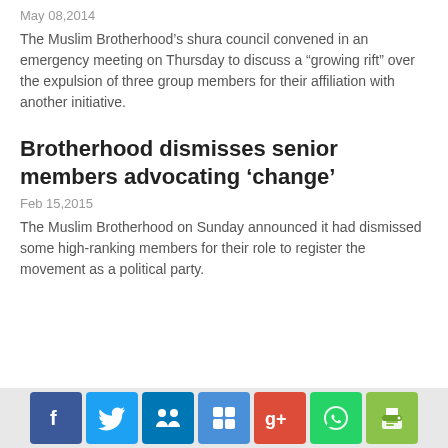May 08,2014
The Muslim Brotherhood&rsquo;s shura council convened in an emergency meeting on Thursday to discuss a &ldquo;growing rift&rdquo; over the expulsion of three group members for their affiliation with another initiative.
Brotherhood dismisses senior members advocating ‘change’
Feb 15,2015
The Muslim Brotherhood on Sunday announced it had dismissed some high-ranking members for their role to register the movement as a political party.
[Figure (infographic): Social media share icons: Facebook, Twitter, LinkedIn, Delicious, Google+, WhatsApp, Print]